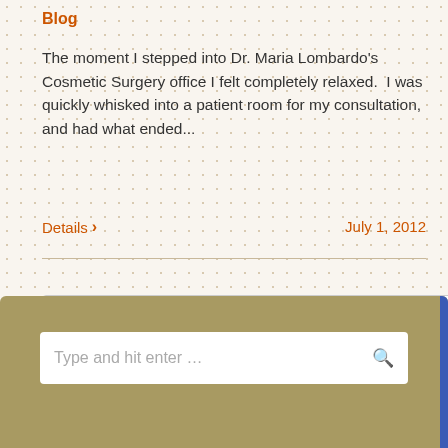Blog
The moment I stepped into Dr. Maria Lombardo's Cosmetic Surgery office I felt completely relaxed.  I was quickly whisked into a patient room for my consultation, and had what ended...
Details >
July 1, 2012
[Figure (screenshot): Pagination controls showing page numbers: 1, ..., 78, 79, 80 (active/highlighted in orange), 81, 82, ..., 101]
[Figure (screenshot): Previous page and Next page navigation buttons]
[Figure (screenshot): Search bar with placeholder text 'Type and hit enter ...' and a search icon]